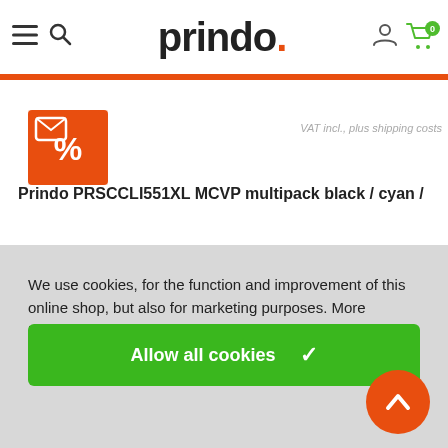[Figure (screenshot): Prindo e-commerce website header with hamburger menu, search icon, Prindo logo, user icon, and green cart icon with count 0]
[Figure (logo): Orange percentage badge icon on product page]
VAT incl., plus shipping costs
Prindo PRSCCLI551XL MCVP multipack black / cyan /
We use cookies, for the function and improvement of this online shop, but also for marketing purposes. More information in our  Privacy policy
Decline marketing cookies
Allow all cookies ✓
[Figure (other): Orange circle scroll-to-top button with upward chevron arrow]